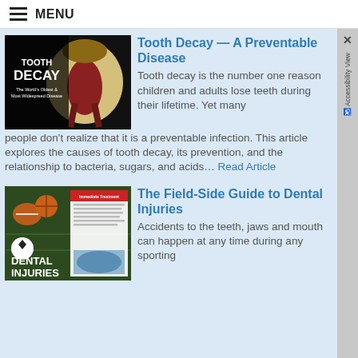MENU
[Figure (photo): Tooth Decay educational poster showing a cross-section of a tooth with decay, text reading 'TOOTH DECAY - The World's Oldest & Most Widespread Disease']
Tooth Decay — A Preventable Disease
Tooth decay is the number one reason children and adults lose teeth during their lifetime. Yet many people don't realize that it is a preventable infection. This article explores the causes of tooth decay, its prevention, and the relationship to bacteria, sugars, and acids… Read Article
[Figure (photo): Dental Injuries educational magazine spread showing sports equipment (football, soccer ball, basketball) and dental injury information with gloved hands treating a mouth]
The Field-Side Guide to Dental Injuries
Accidents to the teeth, jaws and mouth can happen at any time during any sporting